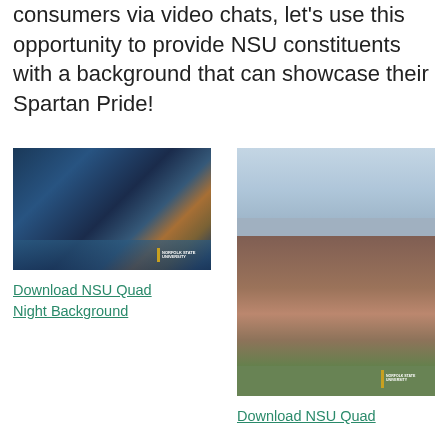consumers via video chats, let's use this opportunity to provide NSU constituents with a background that can showcase their Spartan Pride!
[Figure (photo): NSU campus building at night reflected in water, with the Norfolk State University logo in the bottom right corner]
Download NSU Quad Night Background
[Figure (photo): NSU campus quad building during daytime with blue sky, showing brick building with tower and NSU logo, green lawn in foreground]
Download NSU Quad